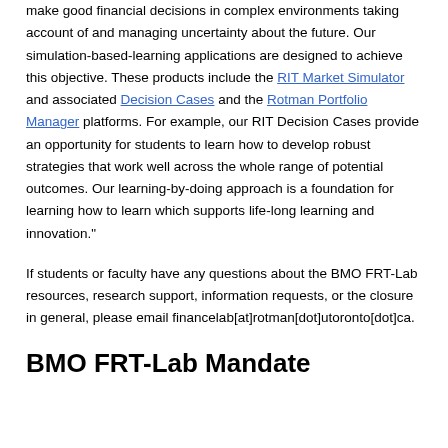make good financial decisions in complex environments taking account of and managing uncertainty about the future. Our simulation-based-learning applications are designed to achieve this objective. These products include the RIT Market Simulator and associated Decision Cases and the Rotman Portfolio Manager platforms. For example, our RIT Decision Cases provide an opportunity for students to learn how to develop robust strategies that work well across the whole range of potential outcomes. Our learning-by-doing approach is a foundation for learning how to learn which supports life-long learning and innovation."
If students or faculty have any questions about the BMO FRT-Lab resources, research support, information requests, or the closure in general, please email financelab[at]rotman[dot]utoronto[dot]ca.
BMO FRT-Lab Mandate